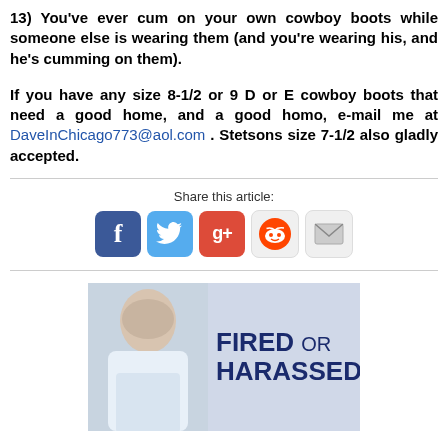13) You've ever cum on your own cowboy boots while someone else is wearing them (and you're wearing his, and he's cumming on them).
If you have any size 8-1/2 or 9 D or E cowboy boots that need a good home, and a good homo, e-mail me at DaveInChicago773@aol.com . Stetsons size 7-1/2 also gladly accepted.
Share this article:
[Figure (infographic): Social share icons: Facebook, Twitter, Google+, Reddit, Email]
[Figure (photo): Advertisement photo of a bald man in a white shirt with text 'FIRED OR HARASSED?']